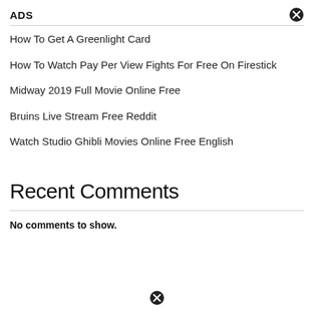ADS
How To Get A Greenlight Card
How To Watch Pay Per View Fights For Free On Firestick
Midway 2019 Full Movie Online Free
Bruins Live Stream Free Reddit
Watch Studio Ghibli Movies Online Free English
Recent Comments
No comments to show.